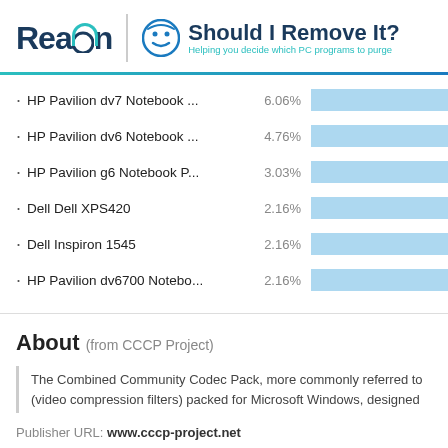[Figure (logo): Reason logo with teal wifi arc over the 'o', vertical divider, smiley face icon, 'Should I Remove It?' title, subtitle 'Helping you decide which PC programs to purge']
[Figure (bar-chart): Top computers by install count]
About (from CCCP Project)
The Combined Community Codec Pack, more commonly referred to (video compression filters) packed for Microsoft Windows, designed
Publisher URL: www.cccp-project.net
Learn more about CCCP Project